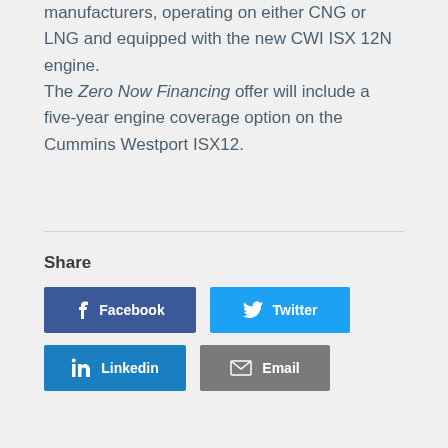manufacturers, operating on either CNG or LNG and equipped with the new CWI ISX 12N engine. The Zero Now Financing offer will include a five-year engine coverage option on the Cummins Westport ISX12.
Share
[Figure (infographic): Social share buttons: Facebook (dark blue), Twitter (light blue), Linkedin (blue), Email (gray)]